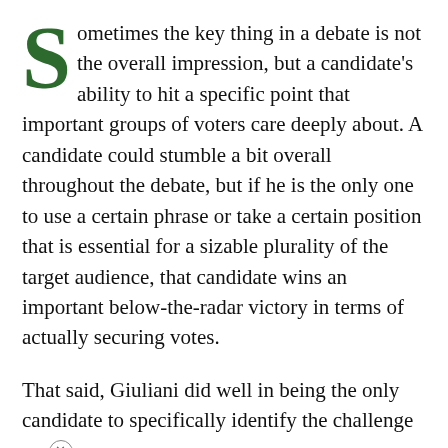Sometimes the key thing in a debate is not the overall impression, but a candidate's ability to hit a specific point that important groups of voters care deeply about. A candidate could stumble a bit overall throughout the debate, but if he is the only one to use a certain phrase or take a certain position that is essential for a sizable plurality of the target audience, that candidate wins an important below-the-radar victory in terms of actually securing votes.

That said, Giuliani did well in being the only candidate to specifically identify the challenge as “Islamic fundamentalist terrorism.”